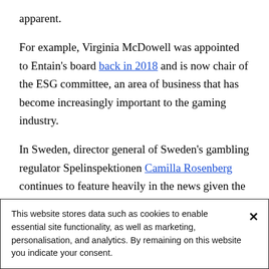apparent.
For example, Virginia McDowell was appointed to Entain's board back in 2018 and is now chair of the ESG committee, an area of business that has become increasingly important to the gaming industry.
In Sweden, director general of Sweden's gambling regulator Spelinspektionen Camilla Rosenberg continues to feature heavily in the news given the country's tough stance on gambling during the crisis.
This website stores data such as cookies to enable essential site functionality, as well as marketing, personalisation, and analytics. By remaining on this website you indicate your consent.